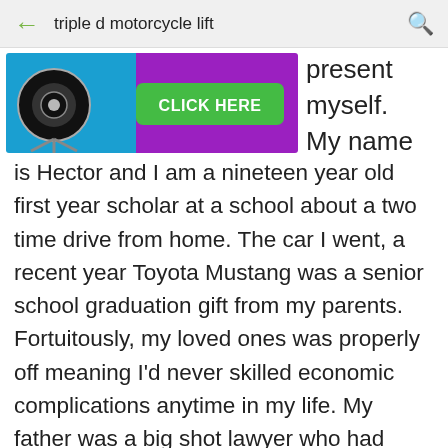triple d motorcycle lift
[Figure (screenshot): Advertisement banner with purple and blue background, camera/eye icon on left, green CLICK HERE button in center]
present myself. My name is Hector and I am a nineteen year old first year scholar at a school about a two time drive from home. The car I went, a recent year Toyota Mustang was a senior school graduation gift from my parents. Fortuitously, my loved ones was properly off meaning I'd never skilled economic complications anytime in my life. My father was a big shot lawyer who had seldom been house when I was rising up. Dad had focused his living to attaining wealth through his career. Alexandros